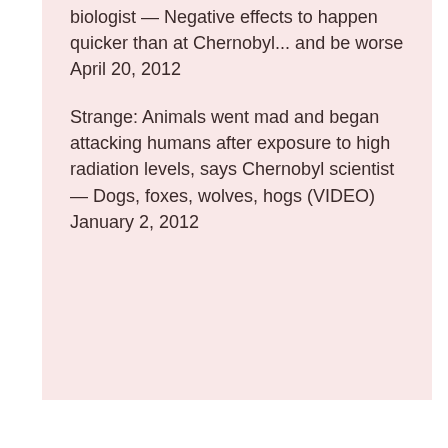biologist — Negative effects to happen quicker than at Chernobyl... and be worse April 20, 2012
Strange: Animals went mad and began attacking humans after exposure to high radiation levels, says Chernobyl scientist — Dogs, foxes, wolves, hogs (VIDEO) January 2, 2012